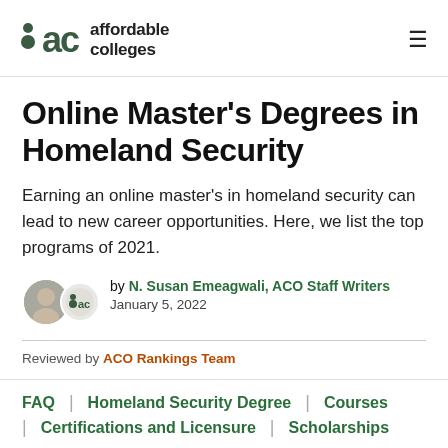affordable colleges
Online Master's Degrees in Homeland Security
Earning an online master's in homeland security can lead to new career opportunities. Here, we list the top programs of 2021.
by N. Susan Emeagwali, ACO Staff Writers
January 5, 2022
Reviewed by ACO Rankings Team
FAQ
Homeland Security Degree
Courses
Certifications and Licensure
Scholarships